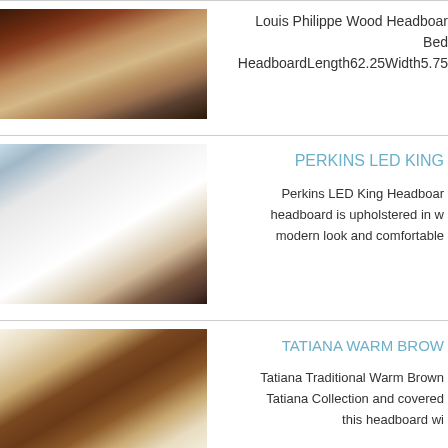[Figure (photo): Louis Philippe wooden bed with dark cherry finish, bedroom setting]
Louis Philippe Wood Headboard Bed HeadboardLength62.25Width5.75
[Figure (photo): Perkins LED King headboard with white upholstery and LED lighting, bedroom setting]
PERKINS LED KING
Perkins LED King Headboard - headboard is upholstered in w- modern look and comfortable
[Figure (photo): Tatiana Warm Brown traditional bedroom set with dresser, mirror, and bed]
TATIANA WARM BROWN
Tatiana Traditional Warm Brown - Tatiana Collection and covered - this headboard wi-
[Figure (photo): Tatiana Warm Brown headboard partial view]
TATIANA WARM BROW-